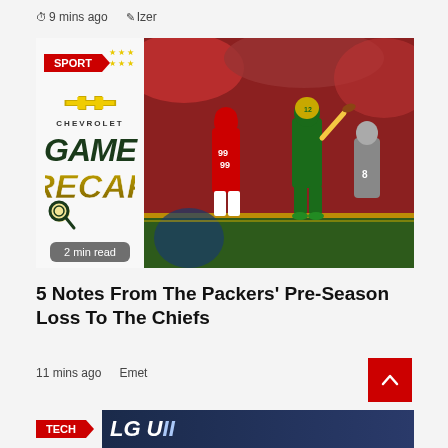9 mins ago  Izer
[Figure (photo): Football game recap article card with left panel showing Chevrolet Game Recap branding with SPORT badge, and right side showing NFL game action photo of Green Bay Packers quarterback throwing against Kansas City Chiefs defenders in red uniforms]
5 Notes From The Packers' Pre-Season Loss To The Chiefs
11 mins ago  Emet
[Figure (photo): Bottom article card showing TECH badge and partial image of LG product]